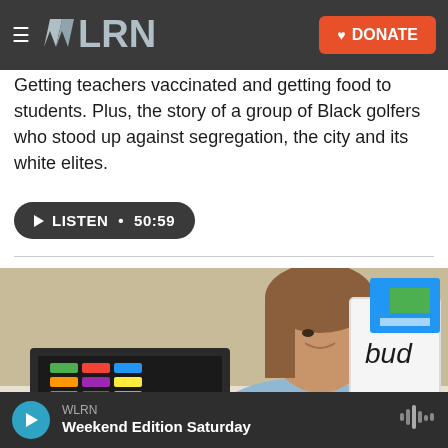WLRN | DONATE
Getting teachers vaccinated and getting food to students. Plus, the story of a group of Black golfers who stood up against segregation, the city and its white elites.
▶ LISTEN • 50:59
[Figure (photo): A female teacher in a light blue shirt smiling while holding up a whiteboard that reads 'bud', with a sticker-covered laptop in front of her in a classroom setting.]
WLRN | Weekend Edition Saturday